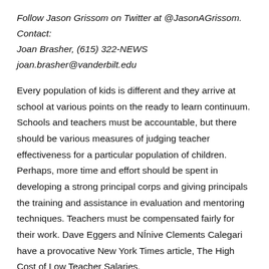Follow Jason Grissom on Twitter at @JasonAGrissom. Contact: Joan Brasher, (615) 322-NEWS joan.brasher@vanderbilt.edu
Every population of kids is different and they arrive at school at various points on the ready to learn continuum. Schools and teachers must be accountable, but there should be various measures of judging teacher effectiveness for a particular population of children. Perhaps, more time and effort should be spent in developing a strong principal corps and giving principals the training and assistance in evaluation and mentoring techniques. Teachers must be compensated fairly for their work. Dave Eggers and NÍnive Clements Calegari have a provocative New York Times article, The High Cost of Low Teacher Salaries.